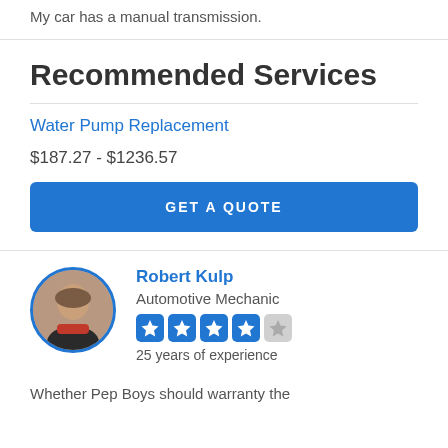My car has a manual transmission.
Recommended Services
Water Pump Replacement
$187.27 - $1236.57
GET A QUOTE
Robert Kulp
Automotive Mechanic
25 years of experience
Whether Pep Boys should warranty the